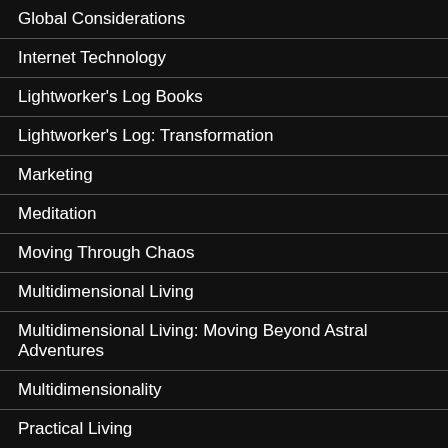Global Considerations
Internet Technology
Lightworker's Log Books
Lightworker's Log: Transformation
Marketing
Meditation
Moving Through Chaos
Multidimensional Living
Multidimensional Living: Moving Beyond Astral Adventures
Multidimensionality
Practical Living
Radiating Light